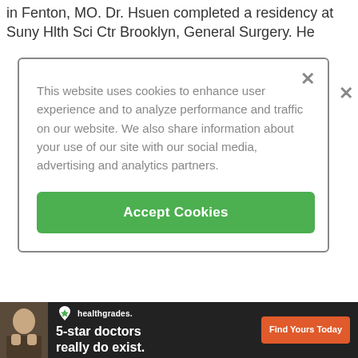in Fenton, MO. Dr. Hsuen completed a residency at Suny Hlth Sci Ctr Brooklyn, General Surgery. He
[Figure (screenshot): Cookie consent dialog overlay with close button (×), message about cookies for user experience and analytics, and green 'Accept Cookies' button]
John Wayne Canc Inst, Fellowship Hospital — 1999
University Hospital of Brooklyn Downstate, Residency Hospital — 1996
University Of Chicago Division Of The
[Figure (screenshot): Healthgrades advertisement banner: '5-star doctors really do exist. Find Yours Today' with photo of doctor and orange CTA button]